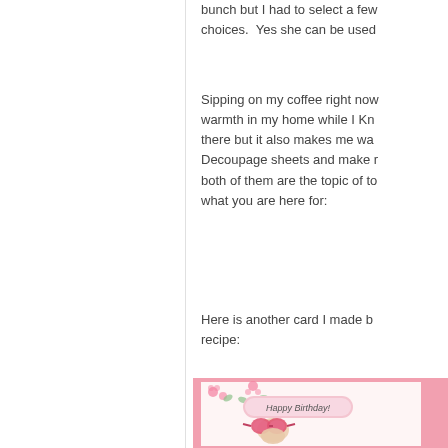bunch but I had to select a few choices.  Yes she can be used
Sipping on my coffee right now warmth in my home while I Kno there but it also makes me wa Decoupage sheets and make m both of them are the topic of to what you are here for:
Here is another card I made b recipe:
[Figure (photo): A handmade birthday card featuring a cartoon character wearing large pink sunglasses, pink floral patterned background, and a 'Happy Birthday!' banner/label on the card.]